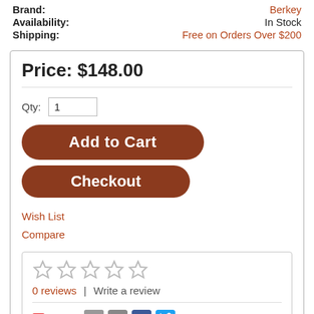Brand: Berkey
Availability: In Stock
Shipping: Free on Orders Over $200
Price: $148.00
Qty: 1
Add to Cart
Checkout
Wish List
Compare
0 reviews  |  Write a review
Share